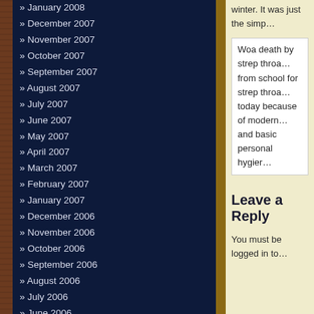» January 2008
» December 2007
» November 2007
» October 2007
» September 2007
» August 2007
» July 2007
» June 2007
» May 2007
» April 2007
» March 2007
» February 2007
» January 2007
» December 2006
» November 2006
» October 2006
» September 2006
» August 2006
» July 2006
» June 2006
» May 2006
» April 2006
» March 2006
» February 2006
» January 2006
Cafe Categories
» Ask Winston (11)
» Cafe Quotables (1)
» Comment (1647)
» Episodes (78)
» Fun and Games (1)
winter. It was just the simp…
Woa death by strep throa… from school for strep throa… today because of modern… and basic personal hygier…
Leave a Reply
You must be logged in to…